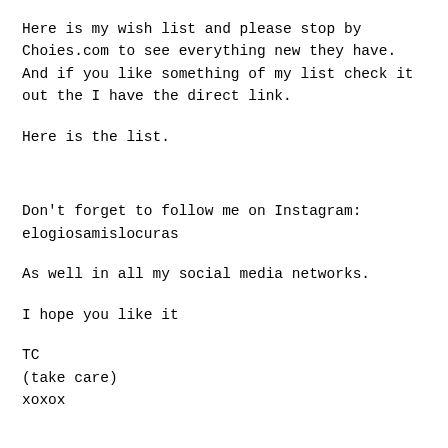Here is my wish list and please stop by Choies.com to see everything new they have. And if you like something of my list check it out the I have the direct link.
Here is the list.
Don't forget to follow me on Instagram: elogiosamislocuras
As well in all my social media networks.
I hope you like it
TC
(take care)
xoxox